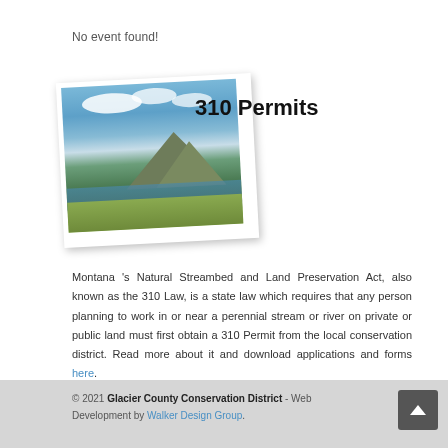No event found!
[Figure (photo): Landscape photo of a mountain lake with blue sky and clouds, green hillside vegetation in foreground, tilted/rotated presentation with white border.]
310 Permits
Montana 's Natural Streambed and Land Preservation Act, also known as the 310 Law, is a state law which requires that any person planning to work in or near a perennial stream or river on private or public land must first obtain a 310 Permit from the local conservation district. Read more about it and download applications and forms here.
© 2021 Glacier County Conservation District - Web Development by Walker Design Group.